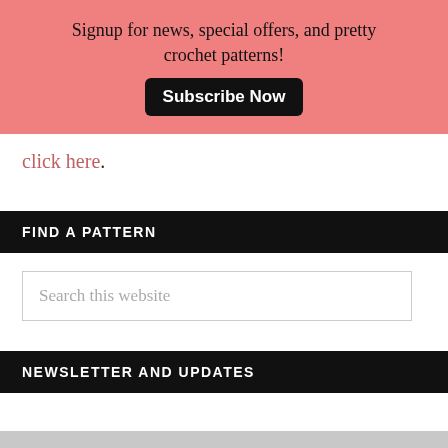Signup for news, special offers, and pretty crochet patterns! Subscribe Now
click here.
FIND A PATTERN
Search this website
NEWSLETTER AND UPDATES
IMPROVE YOUR CROCHET